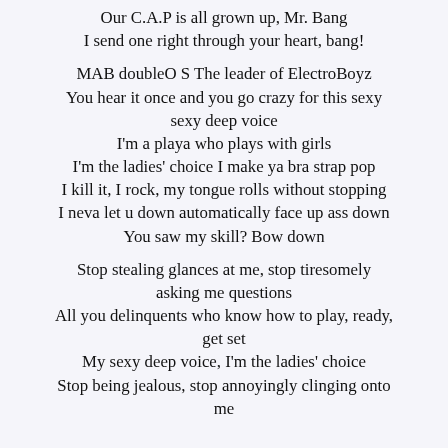Our C.A.P is all grown up, Mr. Bang
I send one right through your heart, bang!

MAB doubleO S The leader of ElectroBoyz
You hear it once and you go crazy for this sexy sexy deep voice
I'm a playa who plays with girls
I'm the ladies' choice I make ya bra strap pop
I kill it, I rock, my tongue rolls without stopping
I neva let u down automatically face up ass down
You saw my skill? Bow down

Stop stealing glances at me, stop tiresomely asking me questions
All you delinquents who know how to play, ready, get set
My sexy deep voice, I'm the ladies' choice
Stop being jealous, stop annoyingly clinging onto me